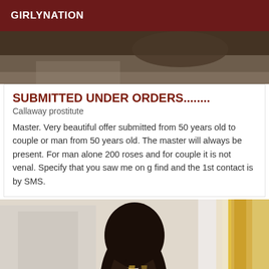GIRLYNATION
[Figure (photo): Top photo showing a dark interior scene, partially cropped]
SUBMITTED UNDER ORDERS........
Callaway prostitute
Master. Very beautiful offer submitted from 50 years old to couple or man from 50 years old. The master will always be present. For man alone 200 roses and for couple it is not venal. Specify that you saw me on g find and the 1st contact is by SMS.
[Figure (photo): Bottom photo showing a woman with long dark wavy hair sitting on a bed, yellow curtain visible in background]